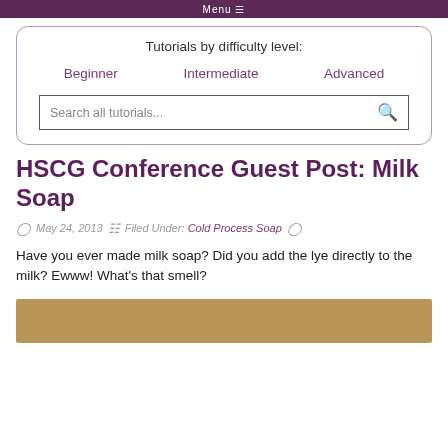Menu
Tutorials by difficulty level:
Beginner
Intermediate
Advanced
Search all tutorials...
HSCG Conference Guest Post: Milk Soap
May 24, 2013   Filed Under: Cold Process Soap
Have you ever made milk soap? Did you add the lye directly to the milk? Ewww!  What's that smell?
[Figure (photo): Partial image of milk soap, tan/golden colored surface]